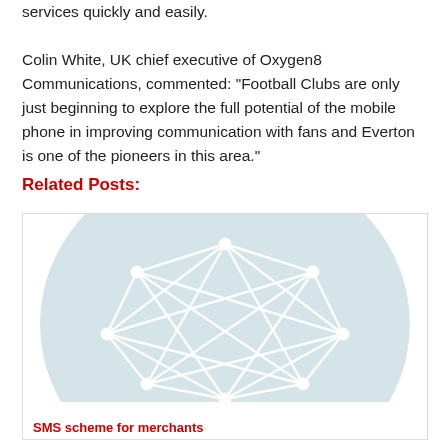services quickly and easily.

Colin White, UK chief executive of Oxygen8 Communications, commented: “Football Clubs are only just beginning to explore the full potential of the mobile phone in improving communication with fans and Everton is one of the pioneers in this area.”
Related Posts:
[Figure (illustration): A circular light blue illustration with a white geometric network/mesh pattern drawn inside, resembling nodes connected by lines forming a sphere or geodesic dome shape.]
SMS scheme for merchants